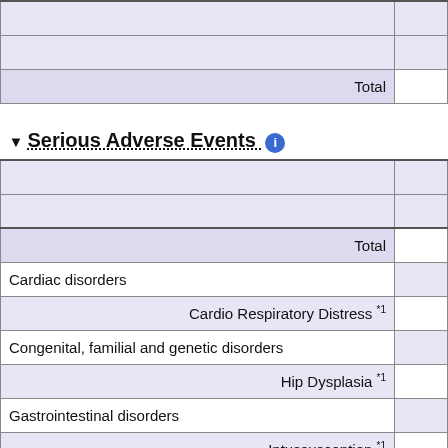| Event | Total |
| --- | --- |
|  |  |
|  |  |
| Total |  |
|  |  |
| Serious Adverse Events |  |
|  |  |
|  |  |
| Total |  |
| Cardiac disorders |  |
| Cardio Respiratory Distress *1 |  |
| Congenital, familial and genetic disorders |  |
| Hip Dysplasia *1 |  |
| Gastrointestinal disorders |  |
| Intussusception *1 |  |
| Diarrhoea *1 |  |
| Gastric Haemorrhage *1 |  |